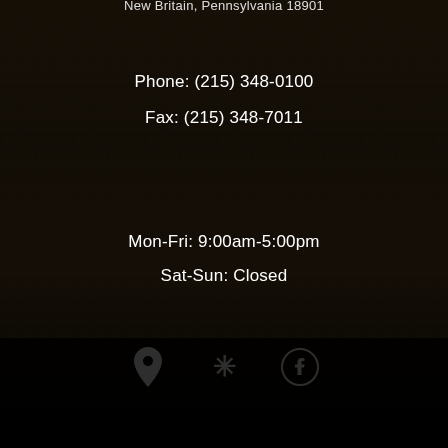New Britain, Pennsylvania 18901
Phone: (215) 348-0100
Fax: (215) 348-7011
Mon-Fri: 9:00am-5:00pm
Sat-Sun: Closed
[Figure (infographic): Three social/map icons: Google Maps location pin, Yelp logo, Facebook logo, displayed in white on dark background]